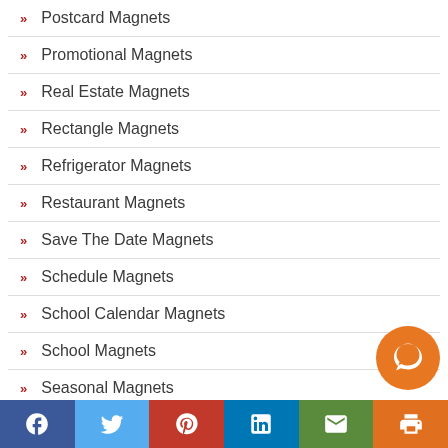Postcard Magnets
Promotional Magnets
Real Estate Magnets
Rectangle Magnets
Refrigerator Magnets
Restaurant Magnets
Save The Date Magnets
Schedule Magnets
School Calendar Magnets
School Magnets
Seasonal Magnets
Sports Magnets
Facebook Twitter Pinterest LinkedIn Email Print